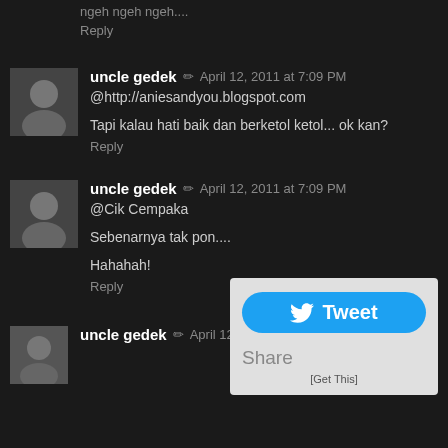ngeh ngeh ngeh....
Reply
uncle gedek  ✏  April 12, 2011 at 7:09 PM
@http://aniesandyou.blogspot.com
Tapi kalau hati baik dan berketol ketol... ok kan?
Reply
uncle gedek  ✏  April 12, 2011 at 7:09 PM
@Cik Cempaka
Sebenarnya tak pon....
Hahahah!
Reply
[Figure (screenshot): Tweet widget with Tweet button and Share label]
uncle gedek  ✏  April 12, 2011 at 7:10 PM